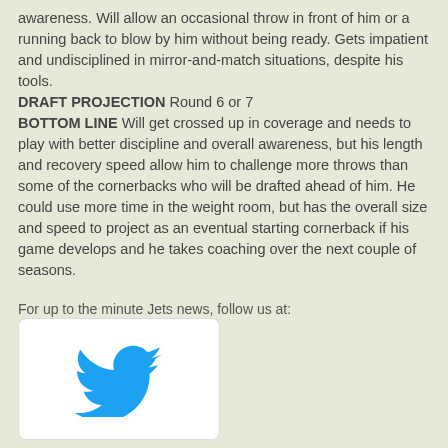awareness. Will allow an occasional throw in front of him or a running back to blow by him without being ready. Gets impatient and undisciplined in mirror-and-match situations, despite his tools.
DRAFT PROJECTION Round 6 or 7
BOTTOM LINE Will get crossed up in coverage and needs to play with better discipline and overall awareness, but his length and recovery speed allow him to challenge more throws than some of the cornerbacks who will be drafted ahead of him. He could use more time in the weight room, but has the overall size and speed to project as an eventual starting cornerback if his game develops and he takes coaching over the next couple of seasons.
For up to the minute Jets news, follow us at:
@GreenRewind
[Figure (logo): Twitter bird logo in blue on white card with rounded corners]